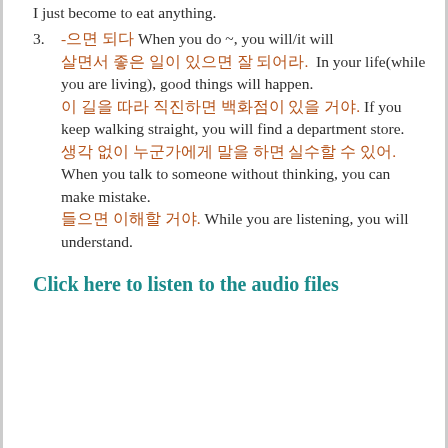I just become to eat anything.
3. -으면 되다 When you do ~, you will/it will
살면서 좋은 일이 있으면 잘 되어라.  In your life(while you are living), good things will happen.
이 길을 따라 직진하면 백화점이 있을 거야. If you keep walking straight, you will find a department store.
생각 없이 누군가에게 말을 하면 실수할 수 있어. When you talk to someone without thinking, you can make mistake.
들으면 이해할 거야. While you are listening, you will understand.
Click here to listen to the audio files